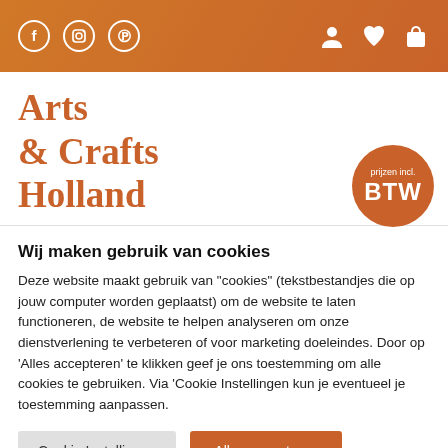Arts & Crafts Holland — header bar with social icons (Facebook, Instagram, Pinterest) and account/wishlist/cart icons
Arts
& Crafts
Holland
[Figure (logo): Orange circular badge reading 'prijzen incl. BTW']
Wij maken gebruik van cookies
Deze website maakt gebruik van "cookies" (tekstbestandjes die op jouw computer worden geplaatst) om de website te laten functioneren, de website te helpen analyseren om onze dienstverlening te verbeteren of voor marketing doeleindes. Door op 'Alles accepteren' te klikken geef je ons toestemming om alle cookies te gebruiken. Via 'Cookie Instellingen kun je eventueel je toestemming aanpassen.
Cookie Instellingen | Alles accepteren